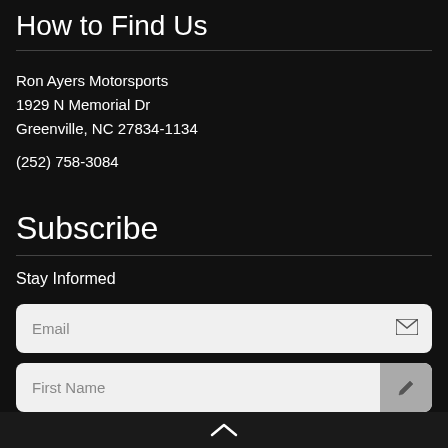How to Find Us
Ron Ayers Motorsports
1929 N Memorial Dr
Greenville, NC 27834-1134
(252) 758-3084
Subscribe
Stay Informed
Email
First Name